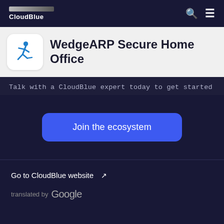CloudBlue
WedgeARP Secure Home Office
Talk with a CloudBlue expert today to get started
Join the ecosystem
Go to CloudBlue website ↗
translated by Google